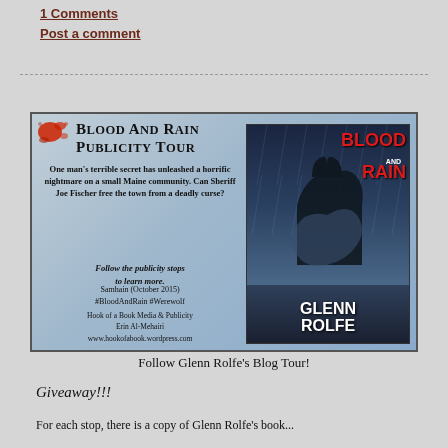1 Comments
Post a comment
[Figure (illustration): Blood And Rain Publicity Tour banner advertisement featuring book cover art with wolf imagery, author Glenn Rolfe, publisher Samhain (October 2015), with publicity contact info for Hook of a Book Media & Publicity, Erin Al-Mehairi, www.hookofabook.wordpress.com]
Follow Glenn Rolfe's Blog Tour!
Giveaway!!!
For each stop, there is a copy of Glenn Rolfe's book...